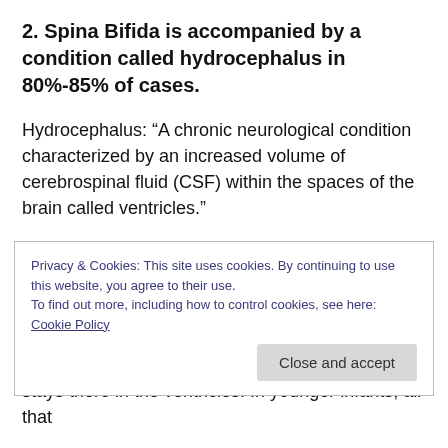2. Spina Bifida is accompanied by a condition called hydrocephalus in 80%-85% of cases.
Hydrocephalus: “A chronic neurological condition characterized by an increased volume of cerebrospinal fluid (CSF) within the spaces of the brain called ventricles.”
Cerebrospinal fluid is produced by the choroid plexus, in the ventricles of the brain. This fluid then travels all around your brain and spine and serves to, among other things,
Privacy & Cookies: This site uses cookies. By continuing to use this website, you agree to their use.
To find out more, including how to control cookies, see here: Cookie Policy
stays there in the ventricles. In younger infants, all that